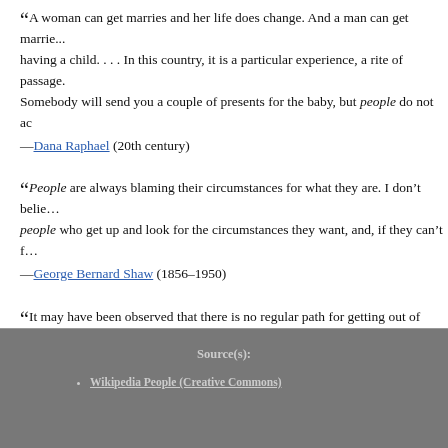“A woman can get marries and her life does change. And a man can get marrie... having a child. . . . In this country, it is a particular experience, a rite of passage. Somebody will send you a couple of presents for the baby, but people do not ac—Dana Raphael (20th century)
“People are always blaming their circumstances for what they are. I don't belie... people who get up and look for the circumstances they want, and, if they can't f—George Bernard Shaw (1856–1950)
“It may have been observed that there is no regular path for getting out of love... cut that way, but it has been known to fail.” —Thomas Hardy (1840–1928)
Source(s): Wikipedia People (Creative Commons)